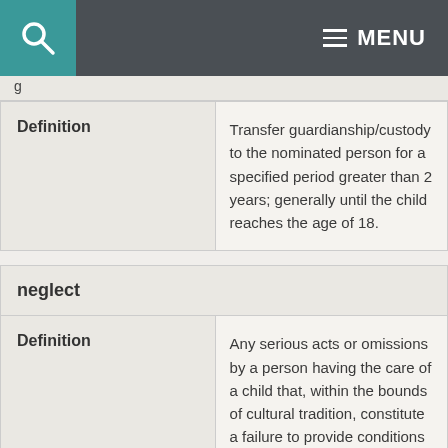MENU
| Definition |  |
| --- | --- |
| Definition | Transfer guardianship/custody to the nominated person for a specified period greater than 2 years; generally until the child reaches the age of 18. |
| neglect |  |
| --- | --- |
| Definition | Any serious acts or omissions by a person having the care of a child that, within the bounds of cultural tradition, constitute a failure to provide conditions that are essential for the healthy physical and emotional development of a |